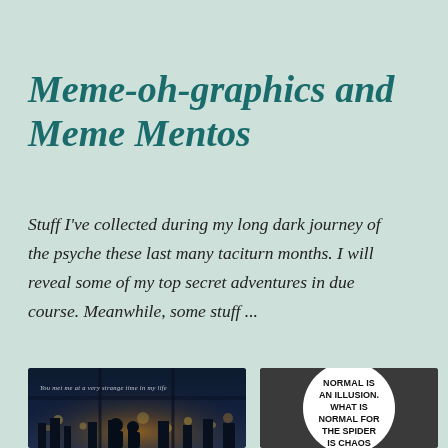Meme-oh-graphics and Meme Mentos
Stuff I've collected during my long dark journey of the psyche these last many taciturn months. I will reveal some of my top secret adventures in due course. Meanwhile, some stuff ...
[Figure (photo): Dark cinematic photo of two silhouettes standing before a large window overlooking a glowing city at night with bokeh lights. Text overlay reads: 'You met me at a very strange time in my life']
[Figure (infographic): Dark gray background with white circle containing bold text: 'Normal is an illusion. What is normal for the spider is chaos']